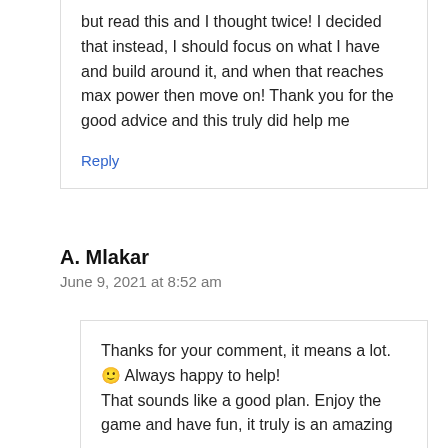but read this and I thought twice! I decided that instead, I should focus on what I have and build around it, and when that reaches max power then move on! Thank you for the good advice and this truly did help me
Reply
A. Mlakar
June 9, 2021 at 8:52 am
Thanks for your comment, it means a lot. 🙂 Always happy to help! That sounds like a good plan. Enjoy the game and have fun, it truly is an amazing